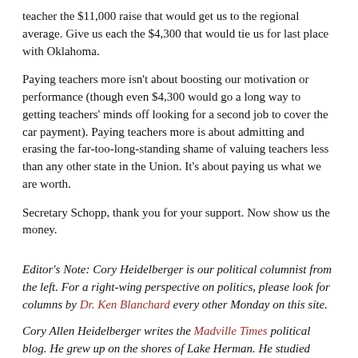teacher the $11,000 raise that would get us to the regional average. Give us each the $4,300 that would tie us for last place with Oklahoma.
Paying teachers more isn't about boosting our motivation or performance (though even $4,300 would go a long way to getting teachers' minds off looking for a second job to cover the car payment). Paying teachers more is about admitting and erasing the far-too-long-standing shame of valuing teachers less than any other state in the Union. It's about paying us what we are worth.
Secretary Schopp, thank you for your support. Now show us the money.
Editor's Note: Cory Heidelberger is our political columnist from the left. For a right-wing perspective on politics, please look for columns by Dr. Ken Blanchard every other Monday on this site.
Cory Allen Heidelberger writes the Madville Times political blog. He grew up on the shores of Lake Herman. He studied math and history at SDSU and information systems at DSU, and is currently teaching French at Spearfish High School. A longtime country dweller, Cory is enjoying "urban" living